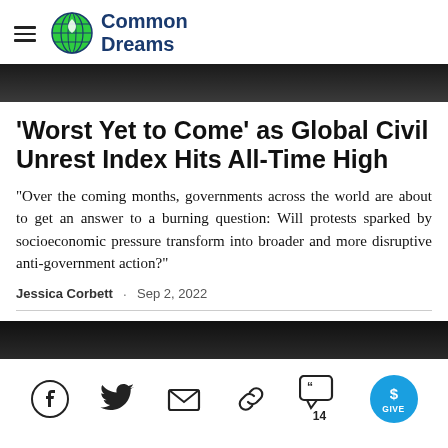Common Dreams
[Figure (photo): Top partial image, dark/shadowed photo cropped at top of page]
'Worst Yet to Come' as Global Civil Unrest Index Hits All-Time High
"Over the coming months, governments across the world are about to get an answer to a burning question: Will protests sparked by socioeconomic pressure transform into broader and more disruptive anti-government action?"
Jessica Corbett · Sep 2, 2022
[Figure (photo): Bottom partial image, dark photo of crowd]
[Figure (other): Social sharing bar with Facebook, Twitter, email, link, comments (14), and GIVE button]